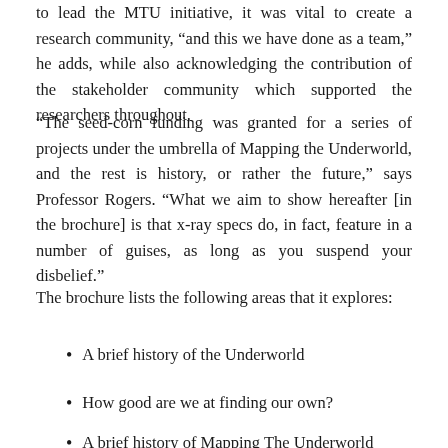to lead the MTU initiative, it was vital to create a research community, “and this we have done as a team,” he adds, while also acknowledging the contribution of the stakeholder community which supported the researchers throughout.
“The seed-corn funding was granted for a series of projects under the umbrella of Mapping the Underworld, and the rest is history, or rather the future,” says Professor Rogers. “What we aim to show hereafter [in the brochure] is that x-ray specs do, in fact, feature in a number of guises, as long as you suspend your disbelief.”
The brochure lists the following areas that it explores:
A brief history of the Underworld
How good are we at finding our own?
A brief history of Mapping The Underworld